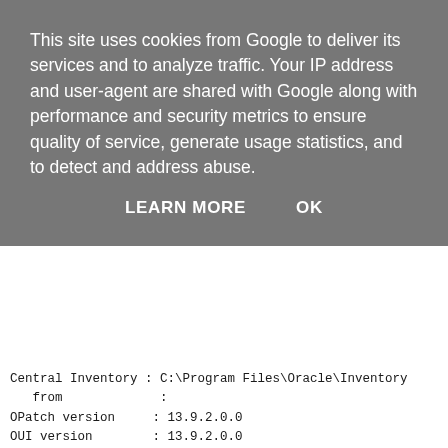This site uses cookies from Google to deliver its services and to analyze traffic. Your IP address and user-agent are shared with Google along with performance and security metrics to ensure quality of service, generate usage statistics, and to detect and address abuse.
LEARN MORE    OK
Central Inventory : C:\Program Files\Oracle\Inventory
   from           :
OPatch version    : 13.9.2.0.0
OUI version       : 13.9.2.0.0
Log file location : c:\Oracle\JDeveloper\12213_SOAQS\cfgt
OPatch detects the Middleware Home as "C:\Oracle\JDevelop
Verifying environment and performing prerequisite checks.
OPatch continues with these patches:   28300397
Do you want to proceed? [y|n]
y
User Responded with: Y
All checks passed.
Please shutdown Oracle instances running out of this ORAC